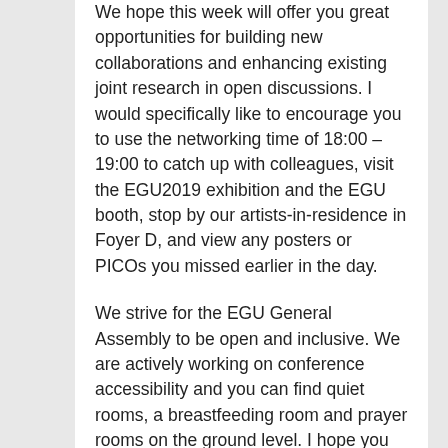We hope this week will offer you great opportunities for building new collaborations and enhancing existing joint research in open discussions. I would specifically like to encourage you to use the networking time of 18:00 – 19:00 to catch up with colleagues, visit the EGU2019 exhibition and the EGU booth, stop by our artists-in-residence in Foyer D, and view any posters or PICOs you missed earlier in the day.
We strive for the EGU General Assembly to be open and inclusive. We are actively working on conference accessibility and you can find quiet rooms, a breastfeeding room and prayer rooms on the ground level. I hope you will join me in proudly wearing our pronoun and EGU Pride pin buttons. Please stop by the Meet EGU spot in Hall X2 to give feedback to division presidents, editors, committee chairs and ECS representatives or attend the open division and committee meetings to learn more about EGU and